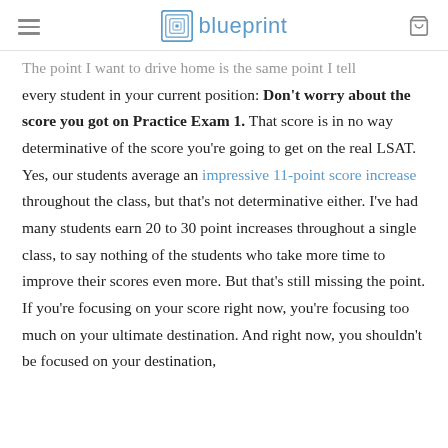blueprint
The point I want to drive home is the same point I tell every student in your current position: Don't worry about the score you got on Practice Exam 1. That score is in no way determinative of the score you're going to get on the real LSAT. Yes, our students average an impressive 11-point score increase throughout the class, but that's not determinative either. I've had many students earn 20 to 30 point increases throughout a single class, to say nothing of the students who take more time to improve their scores even more. But that's still missing the point. If you're focusing on your score right now, you're focusing too much on your ultimate destination. And right now, you shouldn't be focused on your destination,